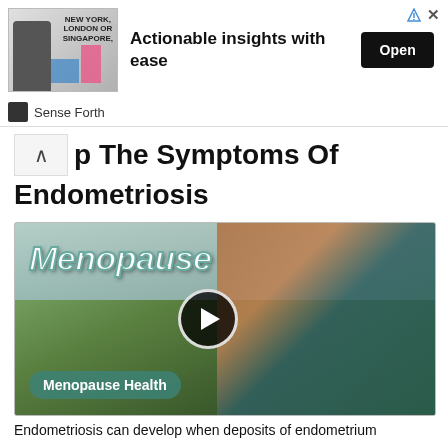[Figure (screenshot): Advertisement banner for 'Sense Forth' with text 'Actionable insights with ease' and an Open button, showing a person with a bar chart and text 'NEW YORK, LONDON OR SINGAPORE']
p The Symptoms Of Endometriosis
[Figure (screenshot): Video thumbnail showing a woman with red hair outdoors with text 'Menopause' in large italic letters, a play button in the center, and a 'Menopause Health' badge at the bottom left. Background shows green hills and sky.]
Endometriosis can develop when deposits of endometrium